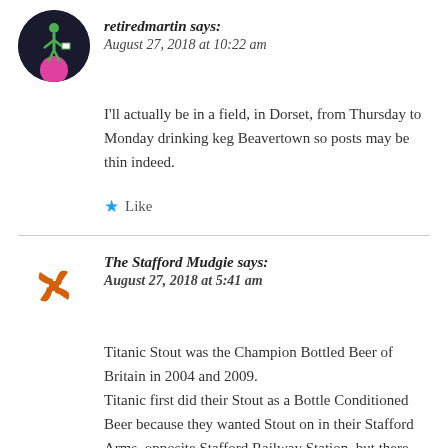[Figure (photo): Circular avatar of retiredmartin showing a green stick figure on dark background with pink circle]
retiredmartin says:
August 27, 2018 at 10:22 am
I'll actually be in a field, in Dorset, from Thursday to Monday drinking keg Beavertown so posts may be thin indeed.
★ Like
[Figure (logo): The Stafford Mudgie logo - orange starburst/pinwheel shape]
The Stafford Mudgie says:
August 27, 2018 at 5:41 am
Titanic Stout was the Champion Bottled Beer of Britain in 2004 and 2009.
Titanic first did their Stout as a Bottle Conditioned Beer because they wanted Stout on in their Stafford Arms, opposite Stafford Railway Station, but there